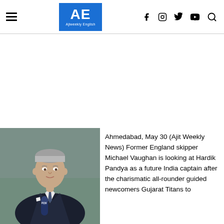AE Ajiweekly English
[Figure (photo): Photo of Michael Vaughan, former England cricket captain, in a suit holding a FOX Sports microphone]
Ahmedabad, May 30 (Ajit Weekly News) Former England skipper Michael Vaughan is looking at Hardik Pandya as a future India captain after the charismatic all-rounder guided newcomers Gujarat Titans to